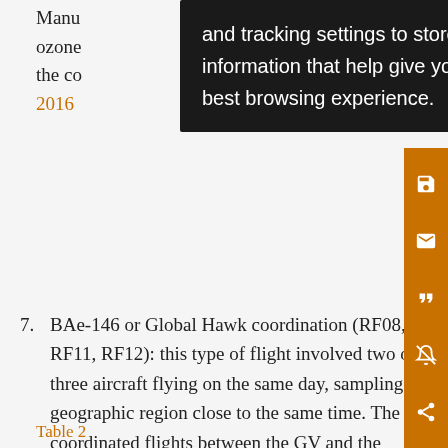and tracking settings to store information that help give you the very best browsing experience.
7. BAe-146 or Global Hawk coordination (RF08, RF11, RF12): this type of flight involved two or three aircraft flying on the same day, sampling a geographic region close to the same time. The coordinated flights between the GV and the BAe146 were typically designed to have a segment of “repeated track,” in which the same region and altitude was sampled by the two aircraft sequentially with a short time separation to allow for instrument comparisons.
Table 2...